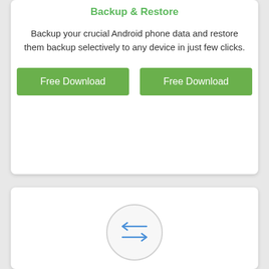Backup & Restore
Backup your crucial Android phone data and restore them backup selectively to any device in just few clicks.
[Figure (screenshot): Two green 'Free Download' buttons side by side]
[Figure (illustration): Circle icon with two horizontal arrows pointing left and right (blue), representing a Transfer feature]
Transfer